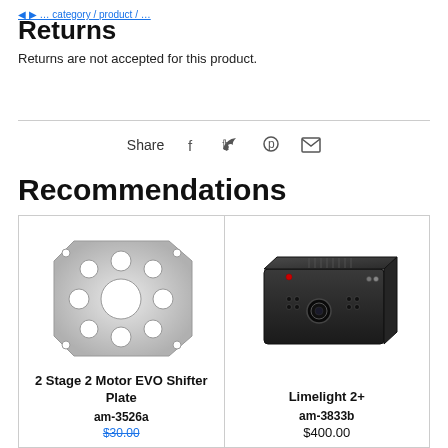…breadcrumb navigation…
Returns
Returns are not accepted for this product.
Share
Recommendations
[Figure (photo): 2 Stage 2 Motor EVO Shifter Plate - silver aluminum plate with cutouts]
2 Stage 2 Motor EVO Shifter Plate
am-3526a
$30.00 (strikethrough)
[Figure (photo): Limelight 2+ - black rectangular camera/sensor device]
Limelight 2+
am-3833b
$400.00